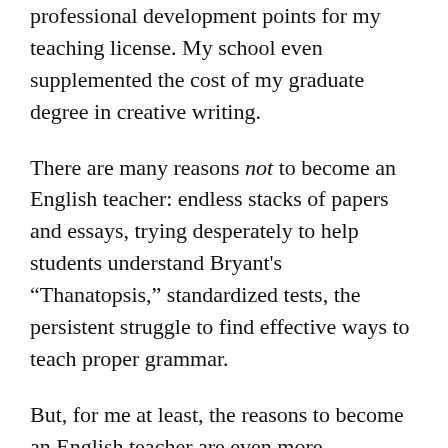professional development points for my teaching license. My school even supplemented the cost of my graduate degree in creative writing.
There are many reasons not to become an English teacher: endless stacks of papers and essays, trying desperately to help students understand Bryant's "Thanatopsis," standardized tests, the persistent struggle to find effective ways to teach proper grammar.
But, for me at least, the reasons to become an English teacher are even more numerous: watching students notice their own improved writing, taking advantage of professional development opportunities that also nurture your personal literary interests, diving deeply into beloved books, helping students learn to read between the lines. I could go on.